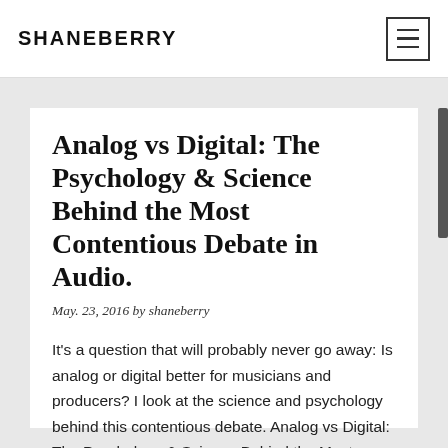SHANEBERRY
Analog vs Digital: The Psychology & Science Behind the Most Contentious Debate in Audio.
May. 23, 2016 by shaneberry
It's a question that will probably never go away: Is analog or digital better for musicians and producers? I look at the science and psychology behind this contentious debate. Analog vs Digital: The Psychology & Science Behind the Most Contentious